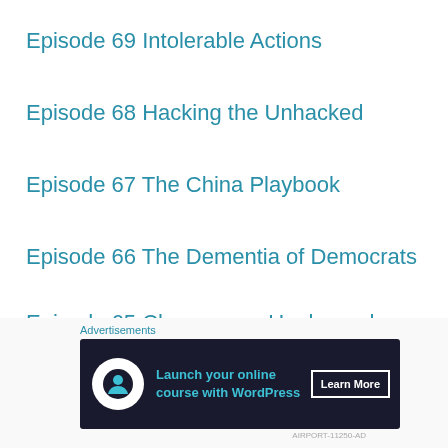Episode 69 Intolerable Actions
Episode 68 Hacking the Unhacked
Episode 67 The China Playbook
Episode 66 The Dementia of Democrats
Episode 65 Champagne Unplugged
Episode 64 A Senator Who Fights
Advertisements
[Figure (infographic): Advertisement banner: Launch your online course with WordPress. Learn More button. Dark navy background with teal text and a white circular logo.]
AIRPORT-11250-AD